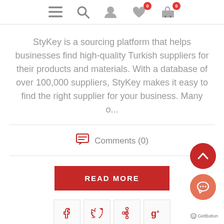Navigation bar with menu, search, user, wishlist (0), and cart (0) icons
StyKey is a sourcing platform that helps businesses find high-quality Turkish suppliers for their products and materials. With a database of over 100,000 suppliers, StyKey makes it easy to find the right supplier for your business. Many o...
Comments (0)
READ MORE
Social share buttons: Facebook, Twitter, Pinterest, Google+